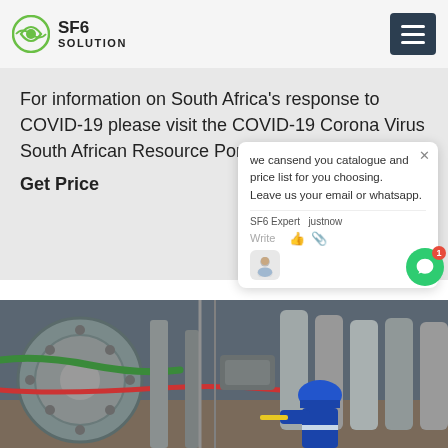SF6 SOLUTION
For information on South Africa's response to COVID-19 please visit the COVID-19 Corona Virus South African Resource Portal.
Get Price
we cansend you catalogue and price list for you choosing.
Leave us your email or whatsapp.
SF6 Expert   justnow
Write
[Figure (photo): Industrial SF6 equipment scene: worker in blue hard hat and blue jacket working near large grey industrial machinery with green and red cables/pipes, multiple cylindrical tanks visible in background]